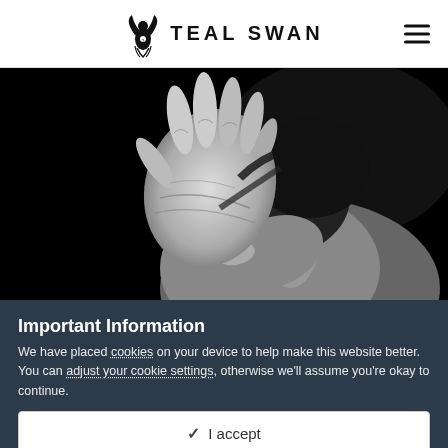TEAL SWAN
[Figure (photo): Black and white photo of a person with their hand raised toward the camera in a stop/defensive gesture, with dark background]
Important Information
We have placed cookies on your device to help make this website better. You can adjust your cookie settings, otherwise we'll assume you're okay to continue.
✓  I accept